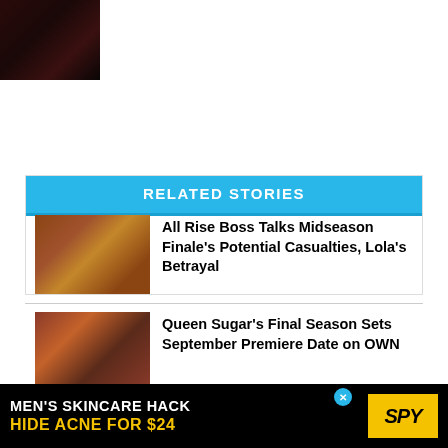[Figure (photo): Small dark thumbnail image in top-left corner]
RELATED STORIES
[Figure (photo): Thumbnail of two people embracing, warm brown tones]
All Rise Boss Talks Midseason Finale's Potential Casualties, Lola's Betrayal
[Figure (photo): Thumbnail of family group embracing, reddish-brown background]
Queen Sugar's Final Season Sets September Premiere Date on OWN
* Mere moments after Marcie kills Randal, Bennett shows up with murderous intentions of his own. He’s understandably disappointed to discover that someon
[Figure (other): Advertisement: MEN'S SKINCARE HACK HIDE ACNE FOR $24 with SPY logo]